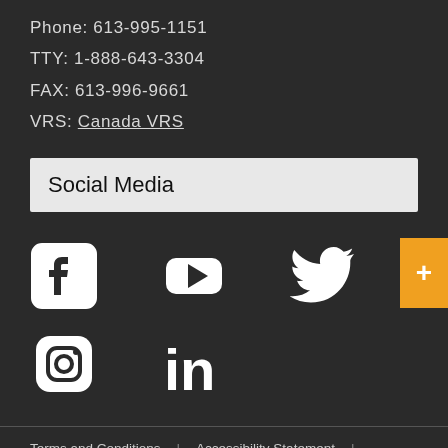Phone: 613-995-1151
TTY: 1-888-643-3304
FAX: 613-996-9661
VRS: Canada VRS
Social Media
[Figure (illustration): Social media icons: Facebook, YouTube, Twitter, Instagram, LinkedIn]
Terms and Conditions | Accessibility Statement | Corporate Publications | Transparency